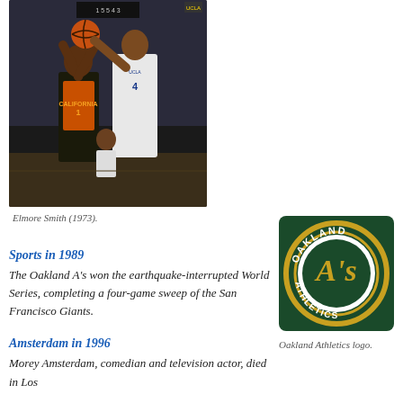[Figure (photo): Basketball photo showing players competing for the ball, one in a California jersey]
Elmore Smith (1973).
Sports in 1989
The Oakland A's won the earthquake-interrupted World Series, completing a four-game sweep of the San Francisco Giants.
[Figure (logo): Oakland Athletics circular logo with dark green background, gold ring, and stylized A's lettering]
Oakland Athletics logo.
Amsterdam in 1996
Morey Amsterdam, comedian and television actor, died in Los